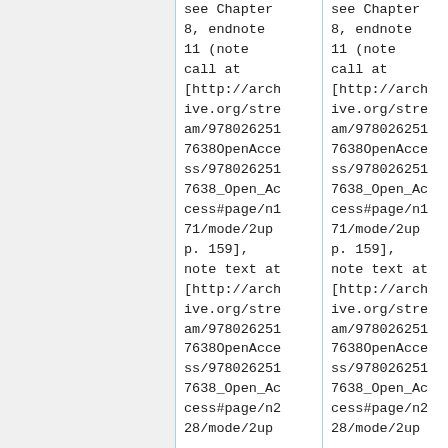see Chapter 8, endnote 11 (note call at [http://archive.org/stream/97802625176380OpenAccess/9780262517638_Open_Access#page/n171/mode/2up p. 159], note text at [http://archive.org/stream/97802625176380OpenAccess/9780262517638_Open_Access#page/n228/mode/2up
see Chapter 8, endnote 11 (note call at [http://archive.org/stream/97802625176380OpenAccess/9780262517638_Open_Access#page/n171/mode/2up p. 159], note text at [http://archive.org/stream/97802625176380OpenAccess/9780262517638_Open_Access#page/n228/mode/2up